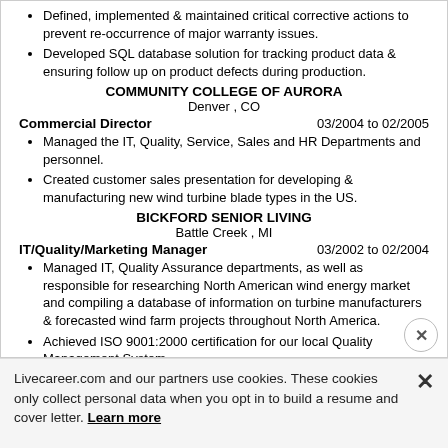Defined, implemented & maintained critical corrective actions to prevent re-occurrence of major warranty issues.
Developed SQL database solution for tracking product data & ensuring follow up on product defects during production.
COMMUNITY COLLEGE OF AURORA
Denver , CO
Commercial Director   03/2004 to 02/2005
Managed the IT, Quality, Service, Sales and HR Departments and personnel.
Created customer sales presentation for developing & manufacturing new wind turbine blade types in the US.
BICKFORD SENIOR LIVING
Battle Creek , MI
IT/Quality/Marketing Manager   03/2002 to 02/2004
Managed IT, Quality Assurance departments, as well as responsible for researching North American wind energy market and compiling a database of information on turbine manufacturers & forecasted wind farm projects throughout North America.
Achieved ISO 9001:2000 certification for our local Quality Management System.
Designed a majority of the processes as structured procedures in the quality management system and taught others how to develop their procedures for their departments.
Livecareer.com and our partners use cookies. These cookies only collect personal data when you opt in to build a resume and cover letter. Learn more